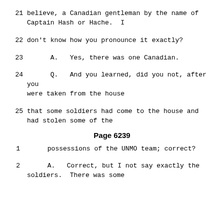21     believe, a Canadian gentleman by the name of Captain Hash or Hache.  I
22     don't know how you pronounce it exactly?
23          A.   Yes, there was one Canadian.
24          Q.   And you learned, did you not, after you were taken from the house
25     that some soldiers had come to the house and had stolen some of the
Page 6239
1      possessions of the UNMO team; correct?
2           A.   Correct, but I not say exactly the soldiers.  There was some